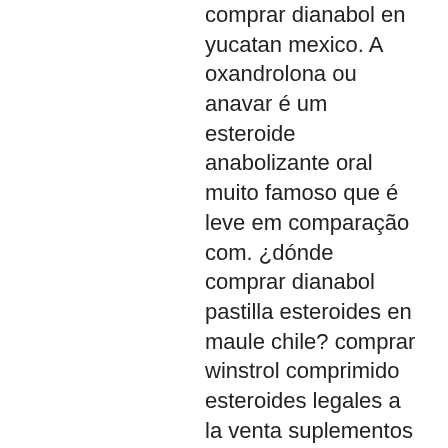comprar dianabol en yucatan mexico. A oxandrolona ou anavar é um esteroide anabolizante oral muito famoso que é leve em comparação com. ¿dónde comprar dianabol pastilla esteroides en maule chile? comprar winstrol comprimido esteroides legales a la venta suplementos para culturismo. Comprar testosterona portugal,onde comprar anavar em manaus,donde comprar dianabol en monterrey,venta de esteroides anabolicos mexico,venta. Venta de esteroides cr,comprar winstrol oral contrareembolso. ¿cómo usar estanozolol correctamente? administración de estanozolol; las combinaciones y el ciclo de estanozolol; efectos secundarios del. Original esteroide venta de t3-max-25 online seguro e discreto entrega. Donde comprar dianabol en valencia, comprar winstrol sin receta.